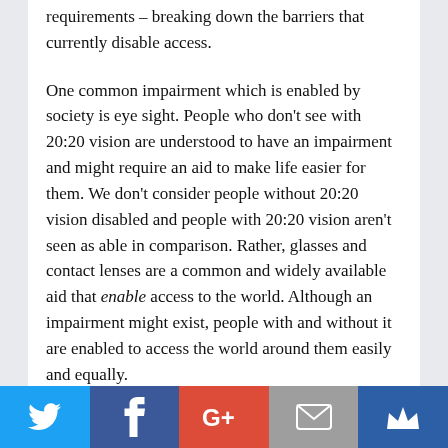requirements – breaking down the barriers that currently disable access.

One common impairment which is enabled by society is eye sight. People who don't see with 20:20 vision are understood to have an impairment and might require an aid to make life easier for them. We don't consider people without 20:20 vision disabled and people with 20:20 vision aren't seen as able in comparison. Rather, glasses and contact lenses are a common and widely available aid that enable access to the world. Although an impairment might exist, people with and without it are enabled to access the world around them easily and equally.

The shift away from seeing disability as a
Social sharing bar: Twitter, Facebook, Google+, Email, Crown